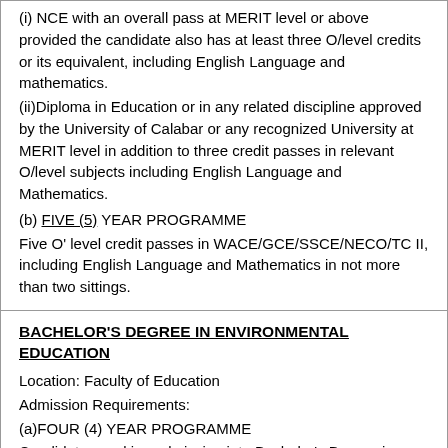(i) NCE with an overall pass at MERIT level or above provided the candidate also has at least three O/level credits or its equivalent, including English Language and mathematics.
(ii) Diploma in Education or in any related discipline approved by the University of Calabar or any recognized University at MERIT level in addition to three credit passes in relevant O/level subjects including English Language and Mathematics.
(b) FIVE (5) YEAR PROGRAMME
Five O' level credit passes in WACE/GCE/SSCE/NECO/TC II, including English Language and Mathematics in not more than two sittings.
BACHELOR'S DEGREE IN ENVIRONMENTAL EDUCATION
Location: Faculty of Education
Admission Requirements:
(a)FOUR (4) YEAR PROGRAMME
Candidates seeking admission into Bachelor's Degree in Environmental Education must possess one of the following qualifications: